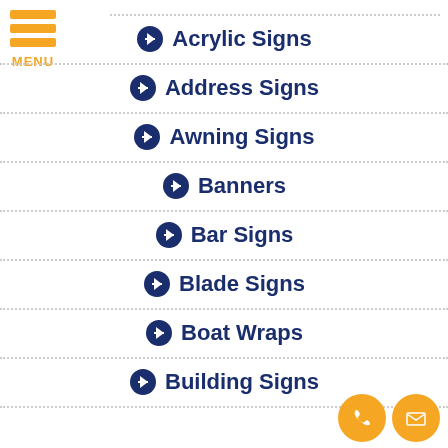[Figure (other): Orange hamburger menu icon with three horizontal bars and MENU label]
Acrylic Signs
Address Signs
Awning Signs
Banners
Bar Signs
Blade Signs
Boat Wraps
Building Signs
[Figure (other): Orange circle phone icon and orange circle email/envelope icon in bottom right corner]